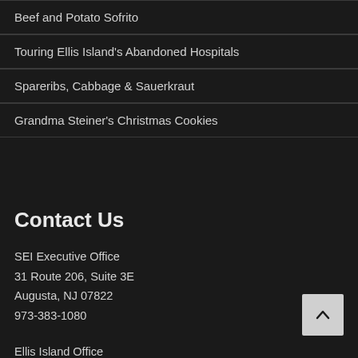Beef and Potato Sofrito
Touring Ellis Island's Abandoned Hospitals
Spareribs, Cabbage & Sauerkraut
Grandma Steiner's Christmas Cookies
Contact Us
SEI Executive Office
31 Route 206, Suite 3E
Augusta, NJ 07822
973-383-1080
Ellis Island Office
Historic Hospital Laundry Building
201-332-8485